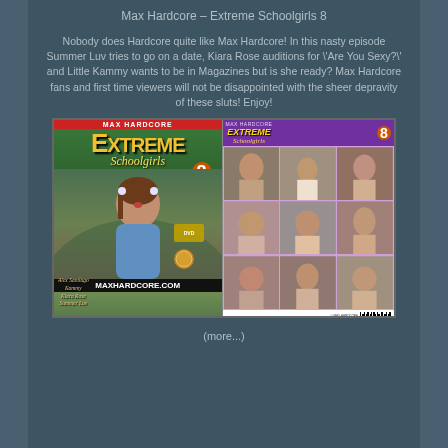Max Hardcore – Extreme Schoolgirls 8
Nobody does Hardcore quite like Max Hardcore! In this nasty episode Summer Luv tries to go on a date, Kiara Rose auditions for \'Are You Sexy?\' and Little Kammy wants to be in Magazines but is she ready? Max Hardcore fans and first time viewers will not be disappointed with the sheer depravity of these sluts! Enjoy!
[Figure (photo): DVD cover image for Max Hardcore Extreme Schoolgirls 8, showing front and back cover. Front cover features a woman in a blue outfit with text MAX HARDCORE EXTREME Schoolgirls 8 and MAXHARDCORE.COM. Back cover shows a photo grid of scenes.]
(more...)